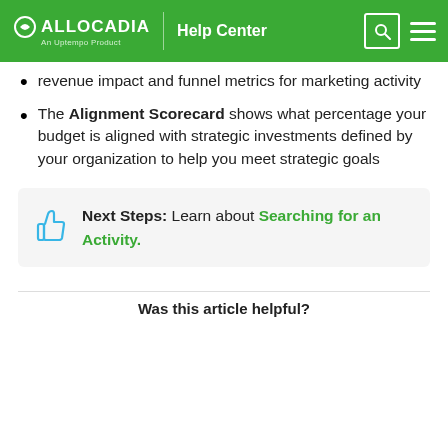ALLOCADIA | Help Center
revenue impact and funnel metrics for marketing activity
The Alignment Scorecard shows what percentage your budget is aligned with strategic investments defined by your organization to help you meet strategic goals
Next Steps: Learn about Searching for an Activity.
Was this article helpful?